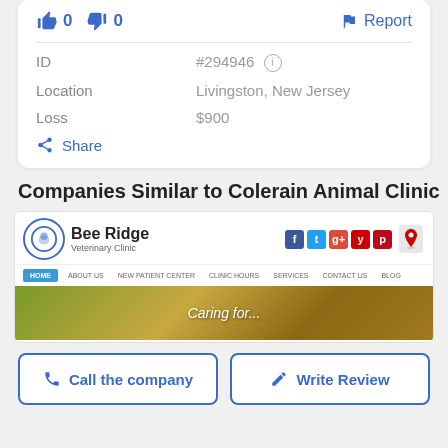👍 0   👎 0   🚩 Report
| Field | Value |
| --- | --- |
| ID | #294946 ℹ |
| Location | Livingston, New Jersey |
| Loss | $900 |
Share
Companies Similar to Colerain Animal Clinic
[Figure (screenshot): Screenshot of Bee Ridge Veterinary Clinic website showing logo, social media icons, navigation bar with HOME, ABOUT US, NEW PATIENT CENTER, CLINIC HOURS, SERVICES, CONTACT US, BLOG, and a hero image with text 'Caring for...']
📞 Call the company   ✏ Write Review